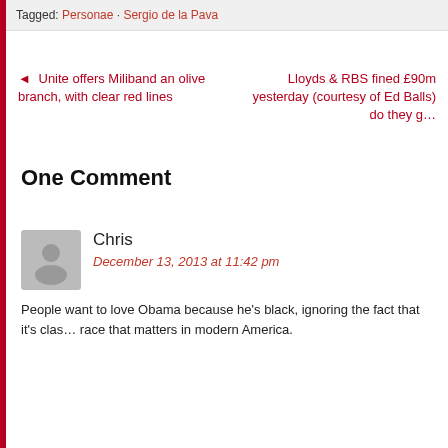Tagged: Personae · Sergio de la Pava
◄ Unite offers Miliband an olive branch, with clear red lines
Lloyds & RBS fined £90m yesterday (courtesy of Ed Balls) do they g…
One Comment
Chris
December 13, 2013 at 11:42 pm
People want to love Obama because he's black, ignoring the fact that it's clas… race that matters in modern America.